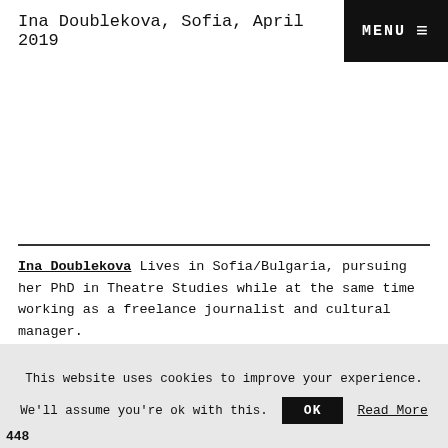Ina Doublekova, Sofia, April 2019  MENU ≡
Ina Doublekova Lives in Sofia/Bulgaria, pursuing her PhD in Theatre Studies while at the same time working as a freelance journalist and cultural manager.
This website uses cookies to improve your experience. We'll assume you're ok with this.  OK  Read More
448